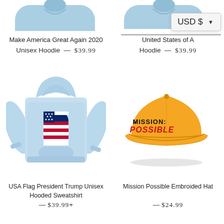[Figure (photo): Partial top view of a light blue Make America Great Again 2020 unisex hoodie, cropped at top]
Make America Great Again 2020
Unisex Hoodie — $39.99
[Figure (photo): Partial top view of a light blue United States of America hoodie, cropped at top; partially hidden by USD currency dropdown]
United States of A...
Hoodie — $39.99
[Figure (screenshot): USD $ currency selector dropdown overlay in upper right]
[Figure (photo): Light blue USA Flag President Trump Unisex Hooded Sweatshirt with American flag silhouette on chest]
USA Flag President Trump Unisex Hooded Sweatshirt
— $39.99+
[Figure (photo): Yellow Mission Possible Embroidered Hat (baseball cap) with black and red text reading MISSION: POSSIBLE]
Mission Possible Embroided Hat
— $24.99